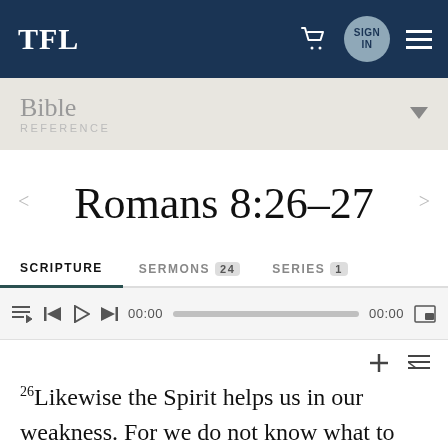TFL
Bible REFERENCE
Romans 8:26-27
SCRIPTURE | SERMONS 24 | SERIES 1
00:00  00:00
26Likewise the Spirit helps us in our weakness. For we do not know what to pray for as we ought,